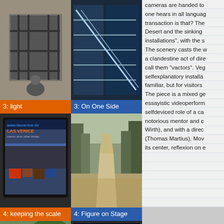[Figure (photo): Photo of a barred window on a stone building facade]
3: light
[Figure (photo): Photo of modern glass staircase interior]
3: On One Side
[Figure (photo): Photo of TV screen showing Las Venice broadcast with people in coats]
4: keeping the scale
[Figure (photo): Photo of a long path through autumn forest]
4: Figure on Stage
[Figure (photo): Photo of a person in white hat and shirt with plants]
5: land from above, vactors
[Figure (photo): Photo of Wilson's Island building with overlay text: Drabness and Catwalk]
5: Drabness and Catwalk
[Figure (photo): Partial photo bottom left]
[Figure (photo): Partial photo bottom middle]
[Figure (photo): Partial photo bottom right]
cameras are handed to one hears in all language transaction is that? The Desert and the sinking installations", with the s The scenery casts the w a clandestine act of dire call them "vactors". Veg selfexplanatory installa familiar, but for visitors The piece is a mixed ge essayistic videoperform selfdeviced role of a ca notorious mentor and c Wirth), and with a direc (Thomas Martius). Mov its center, reflexion on e